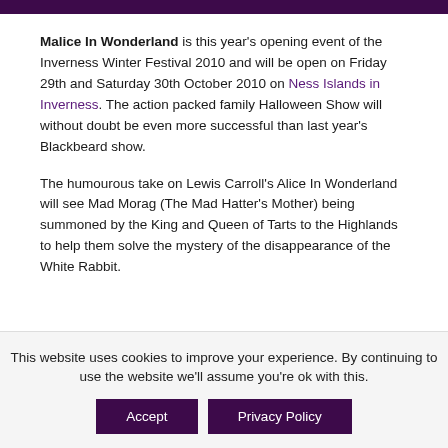Malice In Wonderland is this year's opening event of the Inverness Winter Festival 2010 and will be open on Friday 29th and Saturday 30th October 2010 on Ness Islands in Inverness. The action packed family Halloween Show will without doubt be even more successful than last year's Blackbeard show.
The humourous take on Lewis Carroll's Alice In Wonderland will see Mad Morag (The Mad Hatter's Mother) being summoned by the King and Queen of Tarts to the Highlands to help them solve the mystery of the disappearance of the White Rabbit.
This website uses cookies to improve your experience. By continuing to use the website we'll assume you're ok with this.